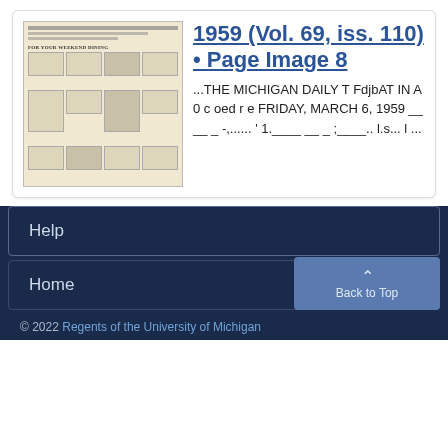[Figure (photo): Thumbnail image of a newspaper page from The Michigan Daily, showing 'FOR YOUR WEEKEND DINING' banner and a grid of advertisements/articles in aged yellowed newsprint.]
1959 (Vol. 69, iss. 110) • Page Image 8
...THE MICHIGAN DAILY T FdjbAT IN A 0 c oed r e FRIDAY, MARCH 6, 1959 __ __ _ -,...... ' 1.____ __ _ ;____.. l.s... l ...
Help
Home
© 2022 Regents of the University of Michigan